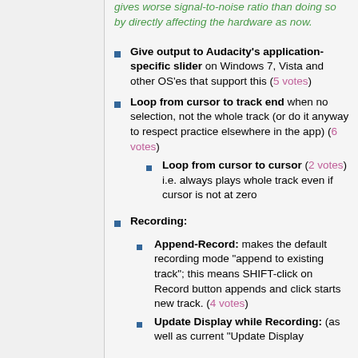gives worse signal-to-noise ratio than doing so by directly affecting the hardware as now.
Give output to Audacity's application-specific slider on Windows 7, Vista and other OS'es that support this (5 votes)
Loop from cursor to track end when no selection, not the whole track (or do it anyway to respect practice elsewhere in the app) (6 votes)
Loop from cursor to cursor (2 votes) i.e. always plays whole track even if cursor is not at zero
Recording:
Append-Record: makes the default recording mode "append to existing track"; this means SHIFT-click on Record button appends and click starts new track. (4 votes)
Update Display while Recording: (as well as current "Update Display